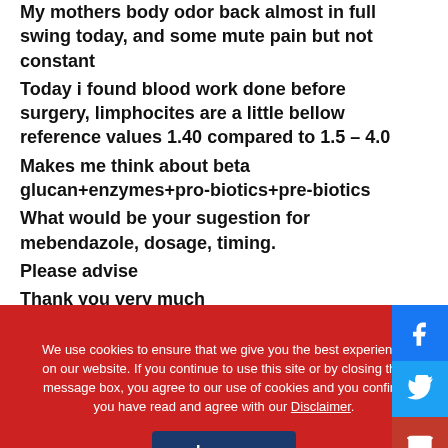My mothers body odor back almost in full swing today, and some mute pain but not constant
Today i found blood work done before surgery, limphocites are a little bellow reference values 1.40 compared to 1.5 – 4.0
Makes me think about beta glucan+enzymes+pro-biotics+pre-biotics
What would be your sugestion for mebendazole, dosage, timing.
Please advise
Thank you very much
Alex
We use cookies to ensure that we give you the best experience on our website. If you continue to use this site or by closing this message box, you agree to our use of cookies and you confirm you have read and agree with our Disclaimer.